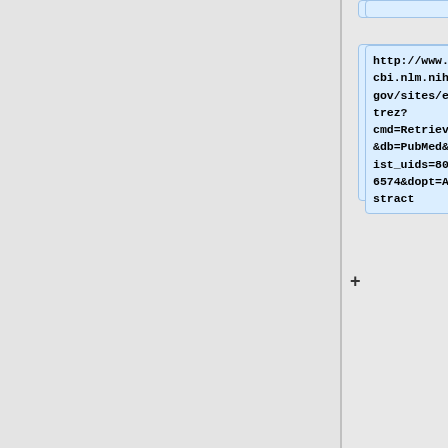http://www.ncbi.nlm.nih.gov/sites/entrez?cmd=Retrieve&db=PubMed&list_uids=8086574&dopt=Abstract
(4)Sebaihia, M., Wren, B.W., et al. “The multidrug-resistant human pathogen ''Clostridiu